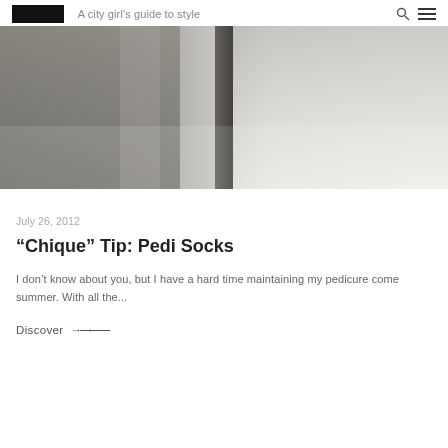A city girl's guide to style
[Figure (photo): A blurry close-up photograph of metallic or silver cylindrical objects, likely beauty/nail care products, with soft grey and white tones.]
July 26, 2012
“Chique” Tip: Pedi Socks
I don’t know about you, but I have a hard time maintaining my pedicure come summer. With all the...
Discover →